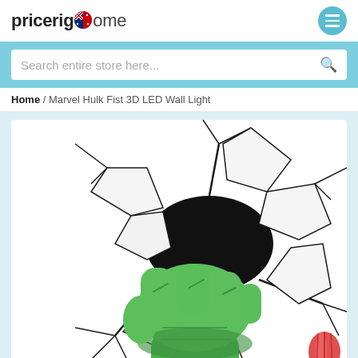pricerighome
Search entire store here...
Home / Marvel Hulk Fist 3D LED Wall Light
[Figure (photo): Marvel Hulk Fist 3D LED Wall Light product photo showing a green fist punching through a cracked wall, with a hot air balloon logo in the bottom right corner.]